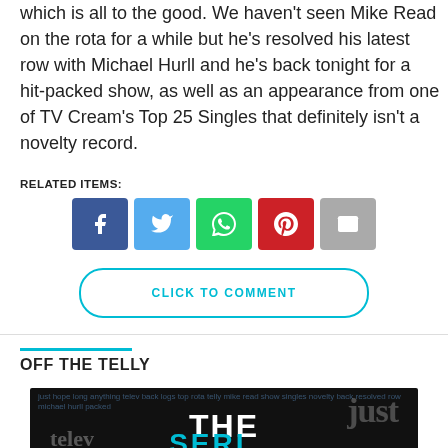which is all to the good. We haven't seen Mike Read on the rota for a while but he's resolved his latest row with Michael Hurll and he's back tonight for a hit-packed show, as well as an appearance from one of TV Cream's Top 25 Singles that definitely isn't a novelty record.
RELATED ITEMS:
[Figure (infographic): Social sharing buttons: Facebook (blue), Twitter (light blue), WhatsApp (green), Pinterest (red), Email (grey)]
CLICK TO COMMENT
OFF THE TELLY
[Figure (screenshot): Thumbnail image with dark background showing word cloud with text including 'just', 'THE', 'telev', blue letters at the bottom]